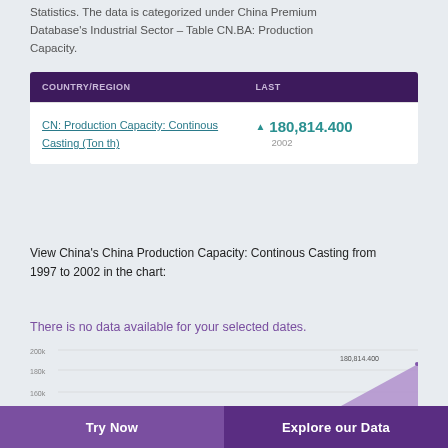Statistics. The data is categorized under China Premium Database's Industrial Sector – Table CN.BA: Production Capacity.
| COUNTRY/REGION | LAST |
| --- | --- |
| CN: Production Capacity: Continous Casting (Ton th) | ▲ 180,814.400
2002 |
View China's China Production Capacity: Continous Casting from 1997 to 2002 in the chart:
[Figure (area-chart): There is no data available for your selected dates.]
Try Now    Explore our Data